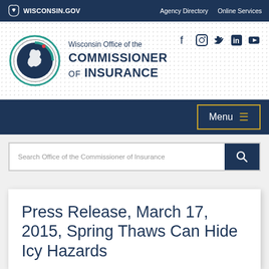Wisconsin.Gov | Agency Directory | Online Services
[Figure (logo): Wisconsin Office of the Commissioner of Insurance logo with Wisconsin state outline in circular emblem]
Wisconsin Office of the
COMMISSIONER
OF INSURANCE
[Figure (logo): Social media icons: Facebook, Instagram, Twitter, LinkedIn, YouTube]
Menu
Search Office of the Commissioner of Insurance
Press Release, March 17, 2015, Spring Thaws Can Hide Icy Hazards